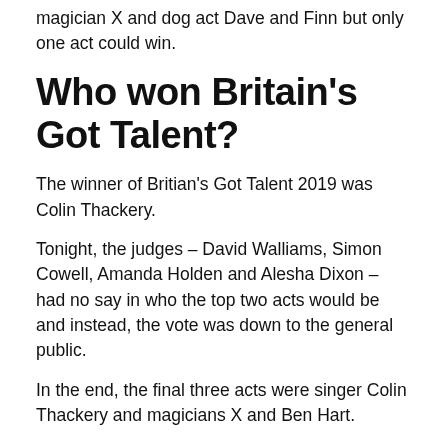magician X and dog act Dave and Finn but only one act could win.
Who won Britain's Got Talent?
The winner of Britian's Got Talent 2019 was Colin Thackery.
Tonight, the judges – David Walliams, Simon Cowell, Amanda Holden and Alesha Dixon – had no say in who the top two acts would be and instead, the vote was down to the general public.
In the end, the final three acts were singer Colin Thackery and magicians X and Ben Hart.
Ben Hart came in third place and X in second.
Hart said: “A massive thank you for supporting me, storytelling and supporting magic."
X said: "I feel amazing and to come second to someone